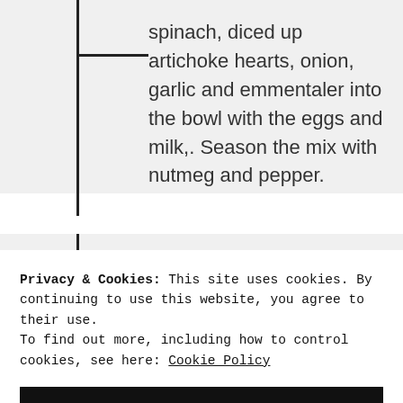spinach, diced up artichoke hearts, onion, garlic and emmentaler into the bowl with the eggs and milk,. Season the mix with nutmeg and pepper.
Prepare the muffin molds, by buttering and flouring them, then lay out the pasty dough in the molds.
Privacy & Cookies: This site uses cookies. By continuing to use this website, you agree to their use. To find out more, including how to control cookies, see here: Cookie Policy
CLOSE AND ACCEPT
[Figure (photo): Partial photo strip at the bottom of the page, showing a dish or food item, cut off.]